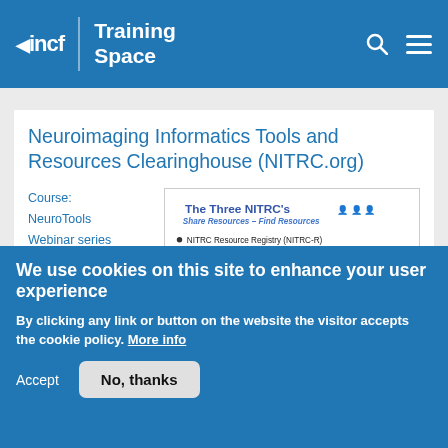incf | Training Space
Neuroimaging Informatics Tools and Resources Clearinghouse (NITRC.org)
Course: NeuroTools Webinar series An agent for
[Figure (screenshot): Slide thumbnail showing 'The Three NITRC's – Share Resources – Find Resources' with bullet points: NITRC Resource Registry (NITRC-R) Software, Resources & Communities; NITRC Image Repository (NITRC-IR)]
We use cookies on this site to enhance your user experience
By clicking any link or button on the website the visitor accepts the cookie policy. More info
Accept  No, thanks